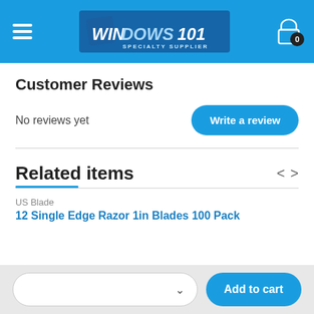[Figure (logo): Windows101 Specialty Supplier logo with hamburger menu and shopping cart icon on blue header bar]
Customer Reviews
No reviews yet
Write a review
Related items
US Blade
12 Single Edge Razor 1in Blades 100 Pack
Add to cart